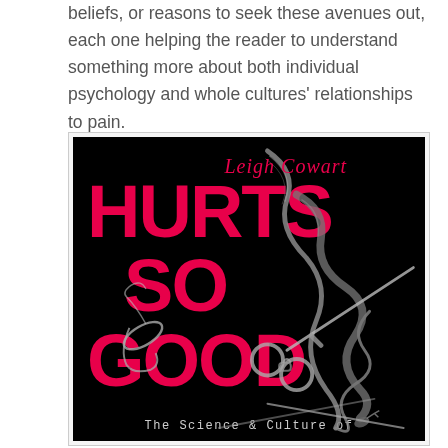beliefs, or reasons to seek these avenues out, each one helping the reader to understand something more about both individual psychology and whole cultures' relationships to pain.
[Figure (illustration): Book cover of 'Hurts So Good: The Science & Culture of...' by Leigh Cowart. Black background with large hot-pink bold text reading 'HURTS SO GOOD'. Overlaid with illustrated whip, snake, ballet shoe, handcuffs, and sword imagery in silver/grey tones. Author name 'Leigh Cowart' in cursive red at top. Subtitle 'The Science & Culture of' visible at bottom in monospace grey text.]